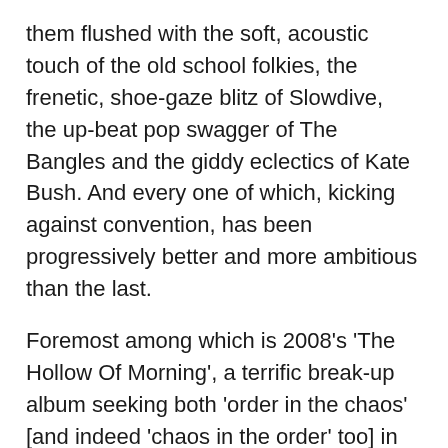them flushed with the soft, acoustic touch of the old school folkies, the frenetic, shoe-gaze blitz of Slowdive, the up-beat pop swagger of The Bangles and the giddy eclectics of Kate Bush. And every one of which, kicking against convention, has been progressively better and more ambitious than the last.
Foremost among which is 2008's 'The Hollow Of Morning', a terrific break-up album seeking both 'order in the chaos' [and indeed 'chaos in the order' too] in the aftermath of a split, whether that be from a person, place or thing. Or indeed all three.
Sharply produced by David Odlum, one of the original members of The Frames and a member of Hayes's kitchen cabinet for years, it's easily one of the best Irish albums of the last two decades. And